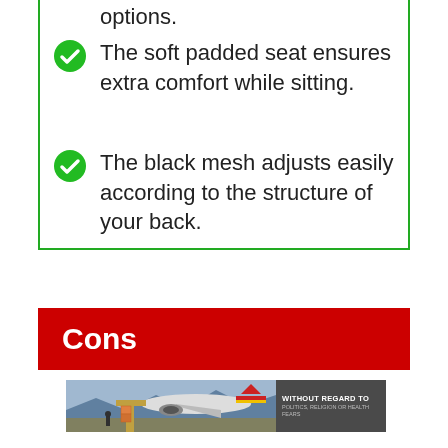options.
The soft padded seat ensures extra comfort while sitting.
The black mesh adjusts easily according to the structure of your back.
Cons
[Figure (photo): Advertisement banner showing cargo airplane being loaded with packages, with text 'WITHOUT REGARD TO POLITICS, RELIGION OR HEALTH FEARS']